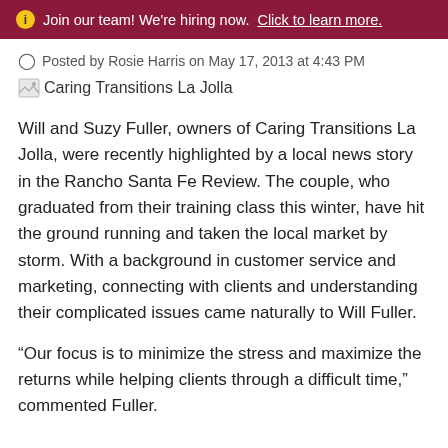Join our team! We're hiring now. Click to learn more.
Posted by Rosie Harris on May 17, 2013 at 4:43 PM
[Figure (other): Caring Transitions La Jolla image placeholder]
Will and Suzy Fuller, owners of Caring Transitions La Jolla, were recently highlighted by a local news story in the Rancho Santa Fe Review. The couple, who graduated from their training class this winter, have hit the ground running and taken the local market by storm. With a background in customer service and marketing, connecting with clients and understanding their complicated issues came naturally to Will Fuller.
“Our focus is to minimize the stress and maximize the returns while helping clients through a difficult time,” commented Fuller.